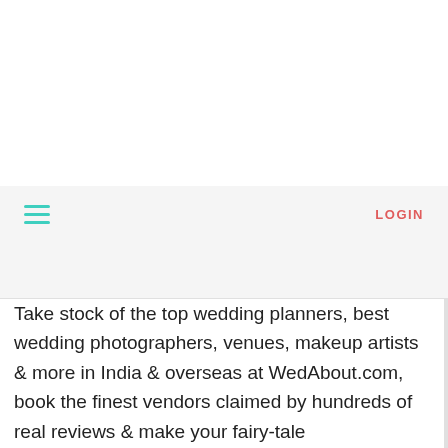LOGIN
Take stock of the top wedding planners, best wedding photographers, venues, makeup artists & more in India & overseas at WedAbout.com, book the finest vendors claimed by hundreds of real reviews & make your fairy-tale